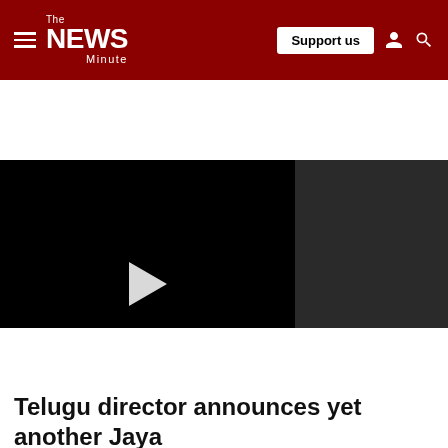The News Minute — Support us
[Figure (screenshot): Video player area with black background, white play button triangle in center, mute icon at bottom left, and dark gray sidebar panel on the right]
Telugu director announces yet another Jaya